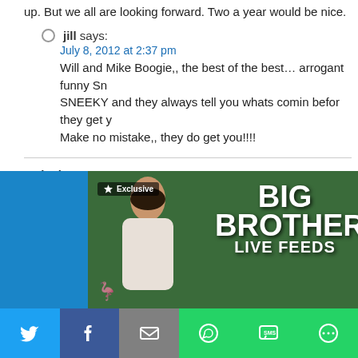up. But we all are looking forward. Two a year would be nice.
jill says:
July 8, 2012 at 2:37 pm
Will and Mike Boogie,, the best of the best… arrogant funny SN SNEEKY and they always tell you whats comin befor they get y Make no mistake,,  they do get you!!!!
8. nicole says:
July 12, 2012 at 5:15 pm
I think you dont bring back rachel reley,brendon,and talk jordan and jeff y making a huge mistake.i they most real out all the players you have had your rating will go down the tubes
Read more comments:
[Figure (photo): Big Brother Live Feeds promotional banner with woman smiling, Paramount Exclusive badge, and green foliage background]
[Figure (infographic): Social sharing bar with Twitter, Facebook, Email, WhatsApp, SMS, and More buttons]